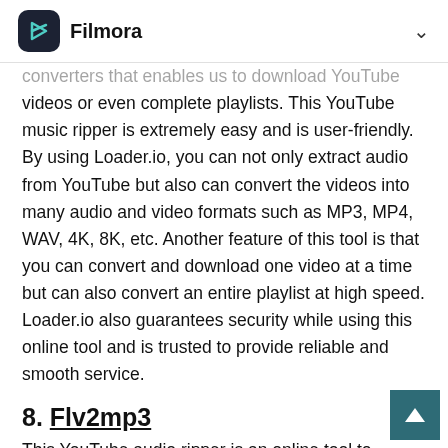Filmora
converters that enables us to download YouTube videos or even complete playlists. This YouTube music ripper is extremely easy and is user-friendly. By using Loader.io, you can not only extract audio from YouTube but also can convert the videos into many audio and video formats such as MP3, MP4, WAV, 4K, 8K, etc. Another feature of this tool is that you can convert and download one video at a time but can also convert an entire playlist at high speed. Loader.io also guarantees security while using this online tool and is trusted to provide reliable and smooth service.
8. Flv2mp3
This YouTube audio ripper is an online tool to download audio from YouTube and 23 other supported